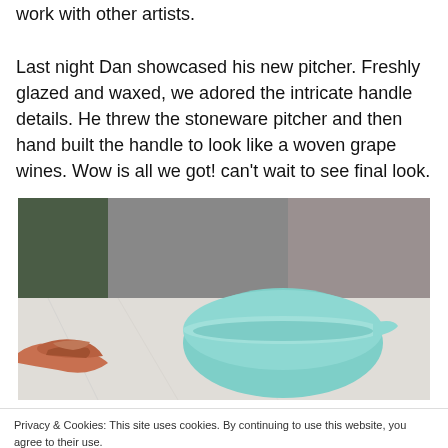work with other artists.
Last night Dan showcased his new pitcher. Freshly glazed and waxed, we adored the intricate handle details. He threw the stoneware pitcher and then hand built the handle to look like a woven grape wines. Wow is all we got! can't wait to see final look.
[Figure (photo): Photo of a light blue/teal ceramic pitcher or bowl on a marble surface, with hands visible at left edge holding what appears to be decorative pottery elements]
Privacy & Cookies: This site uses cookies. By continuing to use this website, you agree to their use.
To find out more, including how to control cookies, see here: Cookie Policy
Close and accept